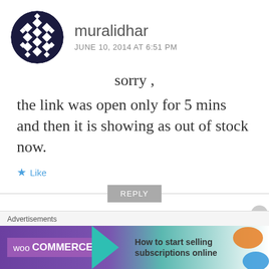[Figure (illustration): Circular avatar with black and white diamond/geometric pattern — Gravatar-style avatar for user muralidhar]
muralidhar
JUNE 10, 2014 AT 6:51 PM
sorry ,
the link was open only for 5 mins and then it is showing as out of stock now.
★ Like
REPLY
[Figure (illustration): Circular avatar with green and white geometric/diamond pattern — Gravatar-style avatar for user Manjunath M Y]
Manjunath M Y
JUNE 10, 2014 AT 8:20 PM
Advertisements
[Figure (screenshot): WooCommerce advertisement banner: purple background with WooCommerce logo and arrow, text reads 'How to start selling subscriptions online']